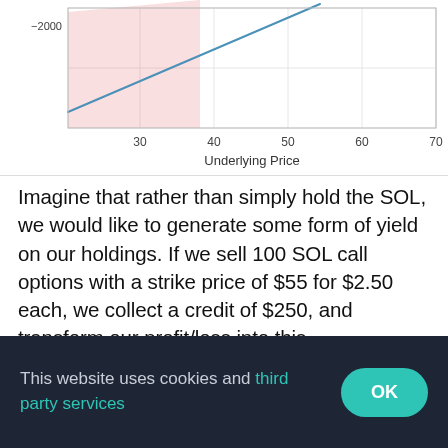[Figure (continuous-plot): Bottom portion of a line chart showing PNL vs Underlying Price. X-axis shows values 30, 40, 50, 60, 70 labeled 'Underlying Price'. Y-axis shows -2000. A blue line rises from lower-left, with a pink shaded loss region below zero.]
Imagine that rather than simply hold the SOL, we would like to generate some form of yield on our holdings. If we sell 100 SOL call options with a strike price of $55 for $2.50 each, we collect a credit of $250, and transform our profit/loss into this.
[Figure (continuous-plot): Line chart showing Total PNL vs Underlying Price. Legend shows 'Total PNL' blue line. Y-axis shows 500 and 0. Green shaded region above 0 on the right, pink shaded region below 0 on the left. Blue line rises steeply then flattens.]
This website uses cookies and third party services